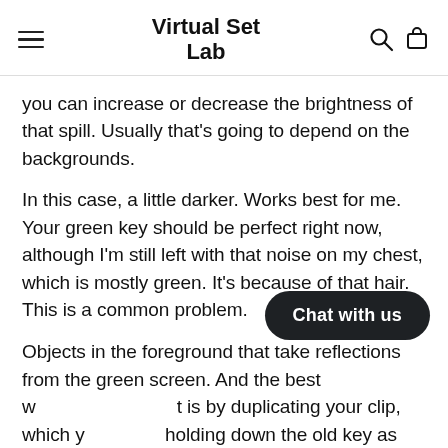Virtual Set Lab
you can increase or decrease the brightness of that spill. Usually that's going to depend on the backgrounds.
In this case, a little darker. Works best for me. Your green key should be perfect right now, although I'm still left with that noise on my chest, which is mostly green. It's because of that hair. This is a common problem.
Objects in the foreground that take reflections from the green screen. And the best w... t is by duplicating your clip, which y... holding down the old key as you drag it a track
[Figure (other): Chat with us button overlay]